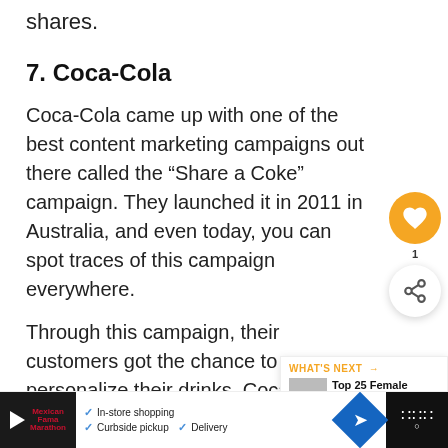shares.
7. Coca-Cola
Coca-Cola came up with one of the best content marketing campaigns out there called the “Share a Coke” campaign. They launched it in 2011 in Australia, and even today, you can spot traces of this campaign everywhere.
Through this campaign, their customers got the chance to personalize their drinks. Coca-Cola personalized their bottles based most common names of each country them out in the market.
[Figure (other): WHAT'S NEXT overlay showing Top 25 Female YouTubers...]
[Figure (other): Bottom advertisement bar with in-store shopping, curbside pickup, delivery options]